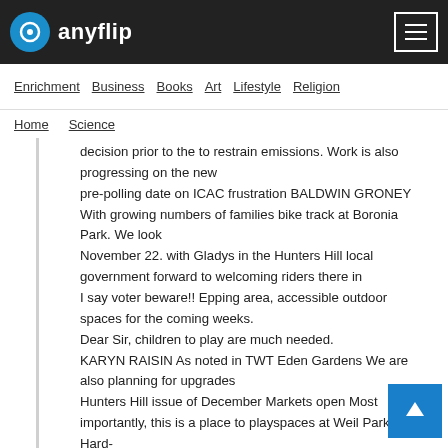anyflip
Enrichment  Business  Books  Art  Lifestyle  Religion
Home  Science
decision prior to the to restrain emissions. Work is also progressing on the new
pre-polling date on ICAC frustration BALDWIN GRONEY With growing numbers of families bike track at Boronia Park. We look
November 22. with Gladys in the Hunters Hill local government forward to welcoming riders there in
I say voter beware!! Epping area, accessible outdoor spaces for the coming weeks.
Dear Sir, children to play are much needed.
KARYN RAISIN As noted in TWT Eden Gardens We are also planning for upgrades
Hunters Hill issue of December Markets open Most importantly, this is a place to playspaces at Weil Park and Hard-
3, despite their best where everyone can play, regardless ing